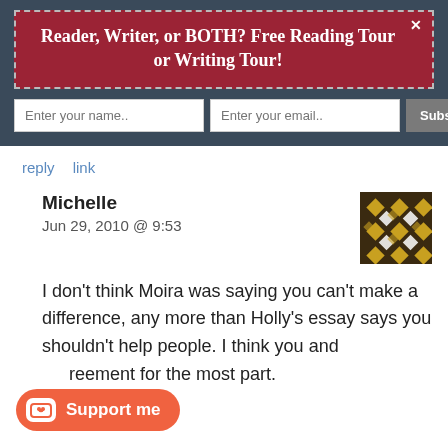Reader, Writer, or BOTH? Free Reading Tour or Writing Tour!
Enter your name..  Enter your email..  Subscribe Now
reply  link
Michelle
Jun 29, 2010 @ 9:53
[Figure (illustration): Decorative avatar/gravatar with gold and white diamond quilt pattern on dark background]
I don’t think Moira was saying you can’t make a difference, any more than Holly’s essay says you shouldn’t help people. I think you and [someone] are in agreement for the most part.
Support me
reply  link